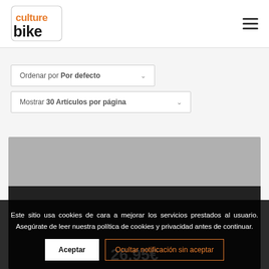[Figure (logo): Culture Bike logo with orange and black stylized text]
[Figure (other): Hamburger menu icon (three horizontal lines)]
Ordenar por Por defecto
Mostrar 30 Artículos por página
[Figure (photo): Product image on grey/dark background with price 26.95€]
Este sitio usa cookies de cara a mejorar los servicios prestados al usuario. Asegúrate de leer nuestra política de cookies y privacidad antes de continuar.
Aceptar
Ocultar notificación sin aceptar